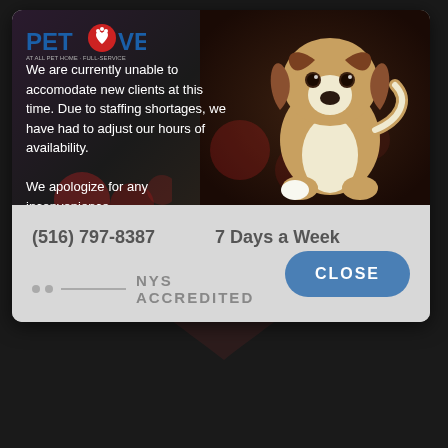[Figure (screenshot): PetVet website modal popup showing a sad beagle puppy on a dark background hero image, with logo top left and navigation icons top right]
We are currently unable to accomodate new clients at this time. Due to staffing shortages, we have had to adjust our hours of availability.
We apologize for any inconvenience.
(516) 797-8387
7 Days a Week
NYS ACCREDITED
CLOSE